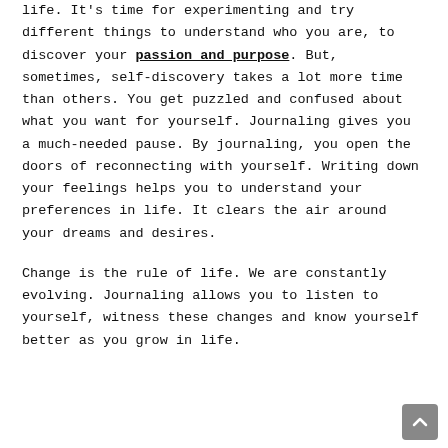life. It's time for experimenting and try different things to understand who you are, to discover your passion and purpose. But, sometimes, self-discovery takes a lot more time than others. You get puzzled and confused about what you want for yourself. Journaling gives you a much-needed pause. By journaling, you open the doors of reconnecting with yourself. Writing down your feelings helps you to understand your preferences in life. It clears the air around your dreams and desires.
Change is the rule of life. We are constantly evolving. Journaling allows you to listen to yourself, witness these changes and know yourself better as you grow in life.